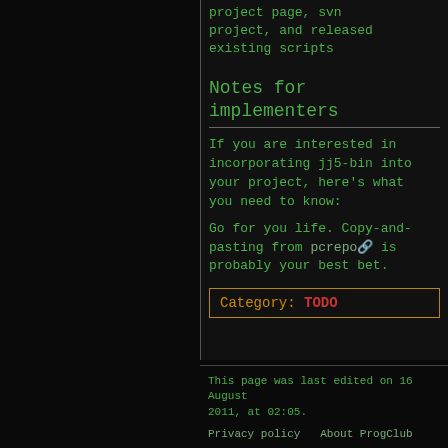project page, svn project, and released existing scripts
Notes for implementers
If you are interested in incorporating jj5-bin into your project, here's what you need to know:
Go for you life. Copy-and-pasting from pcrepo is probably your best bet.
Category: TODO
This page was last edited on 16 August 2011, at 02:05.
Privacy policy   About ProgClub